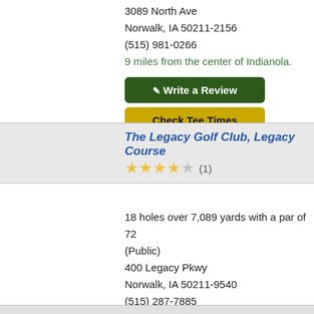3089 North Ave
Norwalk, IA 50211-2156
(515) 981-0266
9 miles from the center of Indianola.
Write a Review
Check Tee Times
The Legacy Golf Club, Legacy Course
(1)
18 holes over 7,089 yards with a par of 72
(Public)
400 Legacy Pkwy
Norwalk, IA 50211-9540
(515) 287-7885
11 miles from the center of Indianola.
Write a Review
Check Tee Times